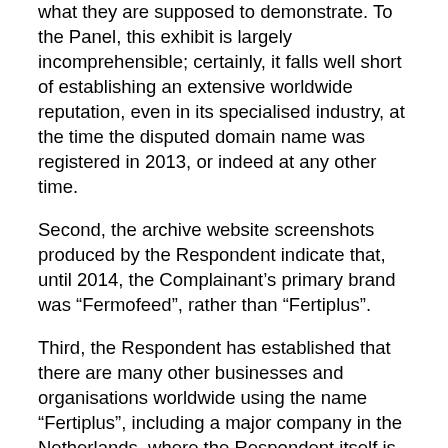what they are supposed to demonstrate. To the Panel, this exhibit is largely incomprehensible; certainly, it falls well short of establishing an extensive worldwide reputation, even in its specialised industry, at the time the disputed domain name was registered in 2013, or indeed at any other time.
Second, the archive website screenshots produced by the Respondent indicate that, until 2014, the Complainant's primary brand was “Fermofeed”, rather than “Fertiplus”.
Third, the Respondent has established that there are many other businesses and organisations worldwide using the name “Fertiplus”, including a major company in the Netherlands, where the Respondent itself is located.
Fourth, the Panel has been given no reason to doubt the Respondent’s assertion that it registered the disputed domain name in connection with its branding and website development business, as an ordinary combination of a short form for “fertility” and the word “plus” denoting something extra or special, or particularly good. The Panel